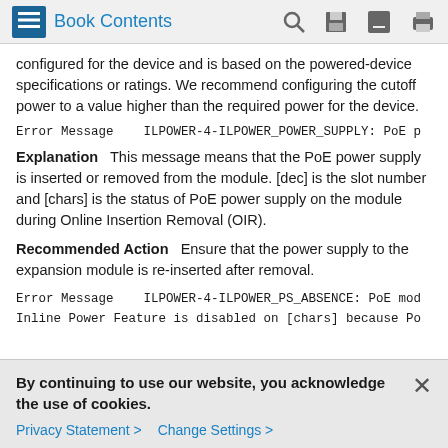Book Contents
configured for the device and is based on the powered-device specifications or ratings. We recommend configuring the cutoff power to a value higher than the required power for the device.
Error Message    ILPOWER-4-ILPOWER_POWER_SUPPLY: PoE p
Explanation   This message means that the PoE power supply is inserted or removed from the module. [dec] is the slot number and [chars] is the status of PoE power supply on the module during Online Insertion Removal (OIR).
Recommended Action   Ensure that the power supply to the expansion module is re-inserted after removal.
Error Message    ILPOWER-4-ILPOWER_PS_ABSENCE: PoE mod
Inline Power Feature is disabled on [chars] because Po
By continuing to use our website, you acknowledge the use of cookies.
Privacy Statement > Change Settings >